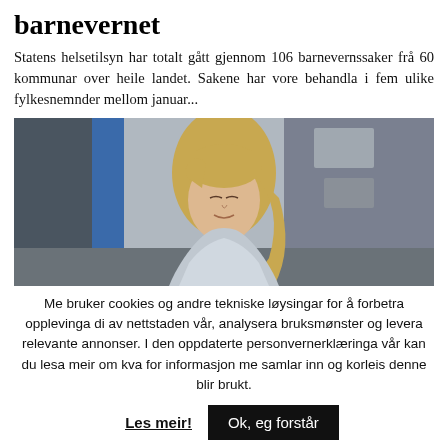barnevernet
Statens helsetilsyn har totalt gått gjennom 106 barnevernssaker frå 60 kommunar over heile landet. Sakene har vore behandla i fem ulike fylkesnemnder mellom januar...
[Figure (photo): Photo of a young woman with blond hair in front of a colorful mural/wall background]
Me bruker cookies og andre tekniske løysingar for å forbetra opplevinga di av nettstaden vår, analysera bruksmønster og levera relevante annonser. I den oppdaterte personvernerklæringa vår kan du lesa meir om kva for informasjon me samlar inn og korleis denne blir brukt.
Les meir!
Ok, eg forstår